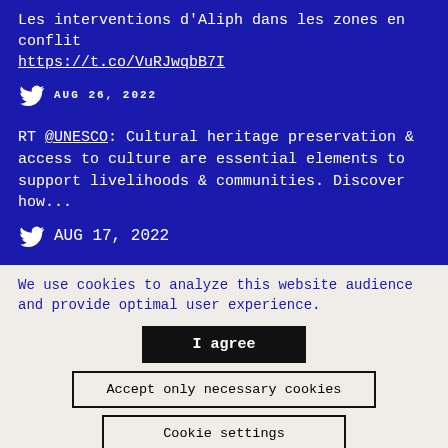Les interventions d'Aliph dans les zones en conflit https://t.co/VuRJwqbB7I
AUG 26, 2022
RT @UNESCO: Cultural heritage preservation & access to culture are essential elements to support livelihoods & communities. Discover how...
AUG 17, 2022
We use cookies to analyze this website audience and provide optimal user experience.
I agree
Accept only necessary cookies
Cookie settings